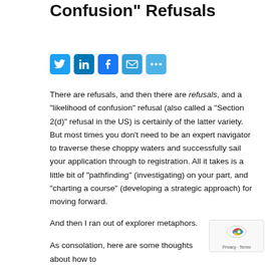Confusion" Refusals
[Figure (other): Social media sharing icons: Twitter, LinkedIn, Facebook, Email, More (+)]
There are refusals, and then there are refusals, and a “likelihood of confusion” refusal (also called a “Section 2(d)” refusal in the US) is certainly of the latter variety. But most times you don’t need to be an expert navigator to traverse these choppy waters and successfully sail your application through to registration.  All it takes is a little bit of “pathfinding” (investigating) on your part, and “charting a course” (developing a strategic approach) for moving forward.
And then I ran out of explorer metaphors.
As consolation, here are some thoughts about how to